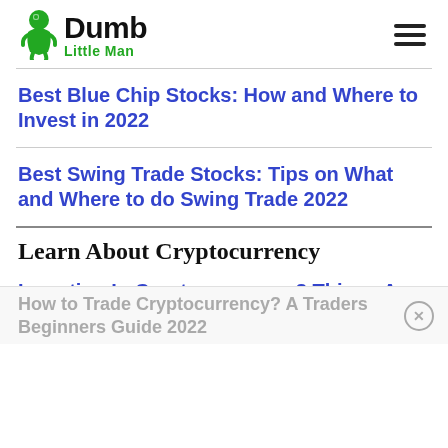Dumb Little Man
Best Blue Chip Stocks: How and Where to Invest in 2022
Best Swing Trade Stocks: Tips on What and Where to do Swing Trade 2022
Learn About Cryptocurrency
Investing In Cryptocurrency: 8 Things A Beginner Should Know
How to Trade Cryptocurrency? A Traders Beginners Guide 2022